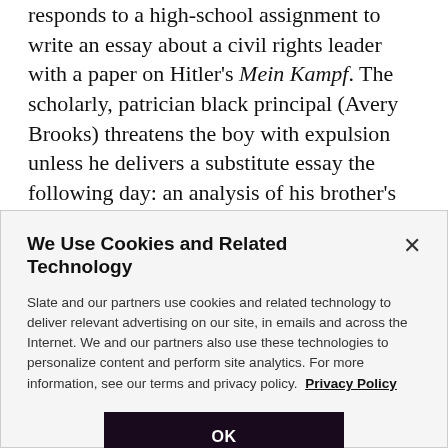responds to a high-school assignment to write an essay about a civil rights leader with a paper on Hitler's Mein Kampf. The scholarly, patrician black principal (Avery Brooks) threatens the boy with expulsion unless he delivers a substitute essay the following day: an analysis of his brother's crime and its impact on both their family and society. A paper! Assigned by a fair-minded black principal with two doctorates! Can we skew the case
We Use Cookies and Related Technology
Slate and our partners use cookies and related technology to deliver relevant advertising on our site, in emails and across the Internet. We and our partners also use these technologies to personalize content and perform site analytics. For more information, see our terms and privacy policy. Privacy Policy